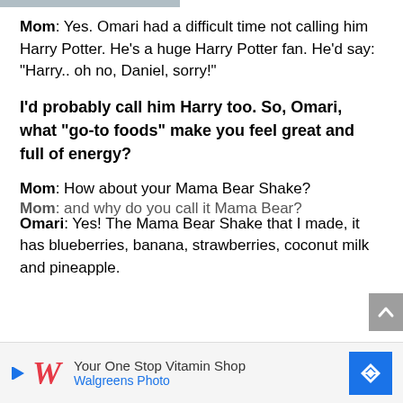Mom: Yes. Omari had a difficult time not calling him Harry Potter. He’s a huge Harry Potter fan. He’d say: “Harry.. oh no, Daniel, sorry!”
I’d probably call him Harry too. So, Omari, what “go-to foods” make you feel great and full of energy?
Mom: How about your Mama Bear Shake?
Omari: Yes! The Mama Bear Shake that I made, it has blueberries, banana, strawberries, coconut milk and pineapple.
Mom: and why do you call it Mama Bear?
[Figure (other): Walgreens Photo advertisement banner: Your One Stop Vitamin Shop, Walgreens Photo]